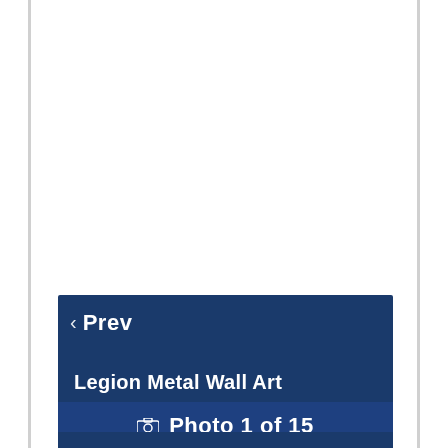[Figure (screenshot): White area representing image placeholder above navigation bar]
‹ Prev
Legion Metal Wall Art
🖼 Photo 1 of 15